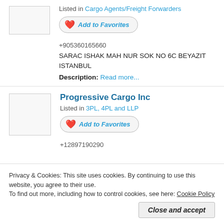[Figure (other): Company logo placeholder box (top listing)]
Listed in Cargo Agents/Freight Forwarders
Add to Favorites (button)
+905360165660
SARAC ISHAK MAH NUR SOK NO 6C BEYAZIT ISTANBUL
Description: Read more...
[Figure (other): Company logo placeholder box (Progressive Cargo Inc)]
Progressive Cargo Inc
Listed in 3PL, 4PL and LLP
Add to Favorites (button)
+12897190290
Privacy & Cookies: This site uses cookies. By continuing to use this website, you agree to their use. To find out more, including how to control cookies, see here: Cookie Policy
Close and accept